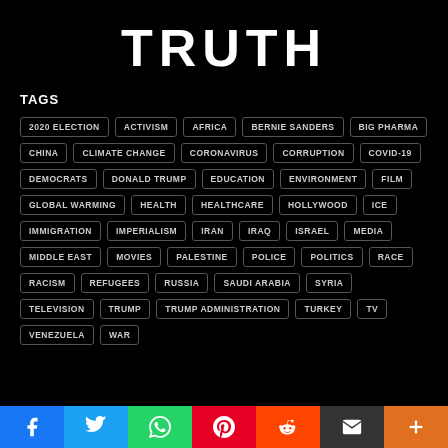TRUTH
TAGS
2020 ELECTION
ACTIVISM
AFRICA
BERNIE SANDERS
BIG PHARMA
CHINA
CLIMATE CHANGE
CORONAVIRUS
CORRUPTION
COVID-19
DEMOCRATS
DONALD TRUMP
EDUCATION
ENVIRONMENT
FILM
GLOBAL WARMING
HEALTH
HEALTHCARE
HOLLYWOOD
ICE
IMMIGRATION
IMPERIALISM
IRAN
IRAQ
ISRAEL
MEDIA
MIDDLE EAST
MOVIES
PALESTINE
POLICE
POLITICS
RACE
RACISM
REFUGEES
RUSSIA
SAUDI ARABIA
SYRIA
TELEVISION
TRUMP
TRUMP ADMINISTRATION
TURKEY
TV
VENEZUELA
WAR
Social share bar: Facebook, Twitter, WhatsApp, Pinterest, Reddit, Email, More